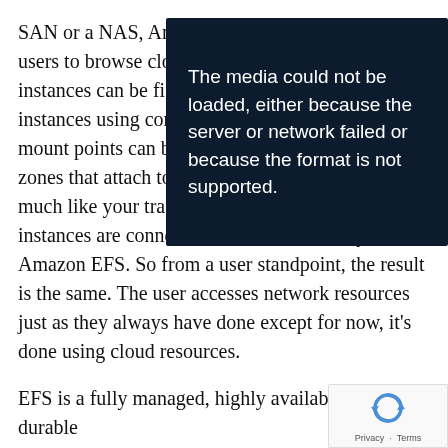SAN or a NAS, Amazon users to browse cloud instances can be figured instances using configuration mount points can be created zones that attach to multiple much like your traditional land servers, EC2 instances are connected to a network file system, Amazon EFS. So from a user standpoint, the result is the same. The user accesses network resources just as they always have done except for now, it's done using cloud resources.
[Figure (screenshot): Video player error overlay with dark background and white text reading: 'The media could not be loaded, either because the server or network failed or because the format is not supported.']
EFS is a fully managed, highly available and durable service that allows you to create shared file systems that can easily scale to petabytes in size with low latency access. EFS has been designed to maintain a high level of throughput in addition to low latency access response, and these
[Figure (logo): Google reCAPTCHA badge with Privacy and Terms links at bottom right corner of page.]